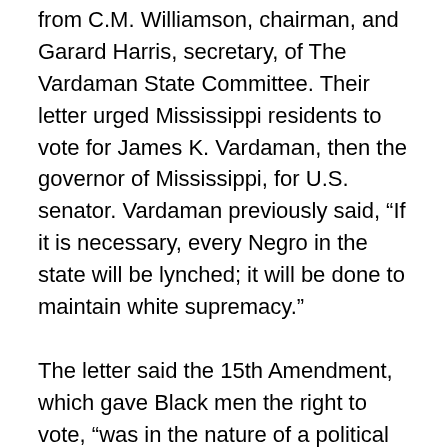from C.M. Williamson, chairman, and Garard Harris, secretary, of The Vardaman State Committee. Their letter urged Mississippi residents to vote for James K. Vardaman, then the governor of Mississippi, for U.S. senator. Vardaman previously said, “If it is necessary, every Negro in the state will be lynched; it will be done to maintain white supremacy.”
The letter said the 15th Amendment, which gave Black men the right to vote, “was in the nature of a political crime.” It also said Vardaman’s election “would be a fresh notice to the negro at home and elsewhere that Mississippians never intended to furl the flag of white supremacy.”